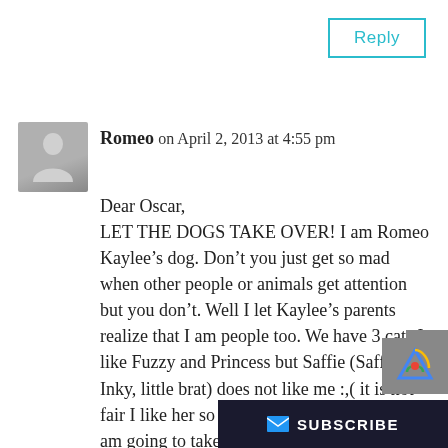Reply
Romeo on April 2, 2013 at 4:55 pm
Dear Oscar,
LET THE DOGS TAKE OVER! I am Romeo Kaylee’s dog. Don’t you just get so mad when other people or animals get attention but you don’t. Well I let Kaylee’s parents realize that I am people too. We have 3 cats I like Fuzzy and Princess but Saffie (Saffire, Inky, little brat) does not like me :,( it is not fair I like her so why does she not like me. ( I am going to take over Kaylee’s blog)